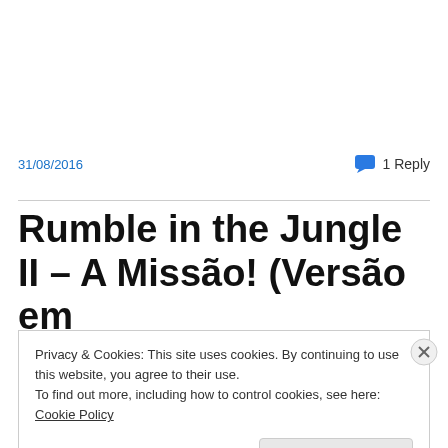31/08/2016
1 Reply
Rumble in the Jungle II – A Missão! (Versão em
Privacy & Cookies: This site uses cookies. By continuing to use this website, you agree to their use.
To find out more, including how to control cookies, see here: Cookie Policy
Close and accept